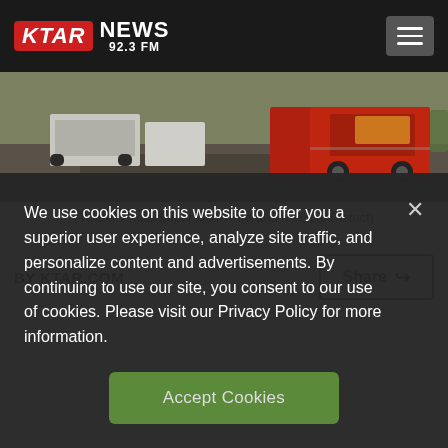KTAR NEWS 92.3 FM
[Figure (photo): Outdoor scene showing emergency vehicles including a red fire truck and white police/emergency vehicles parked on pavement, with people visible in the background and desert vegetation.]
(Twitter Photo/Superstition Fire and Medical District)
BY KTAR.COM
Share
We use cookies on this website to offer you a superior user experience, analyze site traffic, and personalize content and advertisements. By continuing to use our site, you consent to our use of cookies. Please visit our Privacy Policy for more information.
Accept Cookies